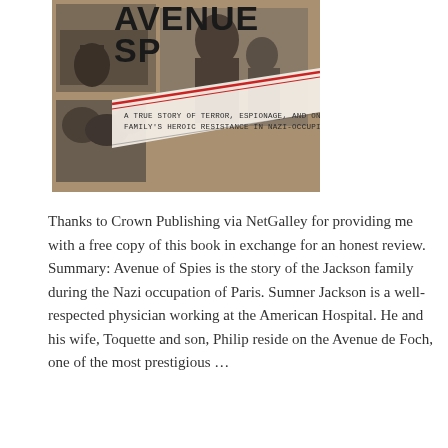[Figure (photo): Book cover of 'Avenue of Spies' — a true story of terror, espionage, and one American family's heroic resistance in Nazi-occupied Paris. Shows black-and-white collage photos with bold title text and red accent lines.]
Thanks to Crown Publishing via NetGalley for providing me with a free copy of this book in exchange for an honest review. Summary: Avenue of Spies is the story of the Jackson family during the Nazi occupation of Paris. Sumner Jackson is a well-respected physician working at the American Hospital. He and his wife, Toquette and son, Philip reside on the Avenue de Foch, one of the most prestigious ...